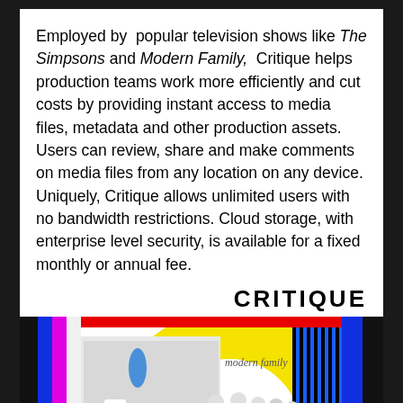Employed by popular television shows like The Simpsons and Modern Family, Critique helps production teams work more efficiently and cut costs by providing instant access to media files, metadata and other production assets. Users can review, share and make comments on media files from any location on any device. Uniquely, Critique allows unlimited users with no bandwidth restrictions. Cloud storage, with enterprise level security, is available for a fixed monthly or annual fee.
[Figure (logo): CRITIQUE logo text in bold black with large sans-serif font, followed below by a stylized image combining TV color test bars (black, blue, magenta on left; blue, black on right), a red top strip, a large yellow arc/circle on the right, The Simpsons cartoon sketch on the left side of the white area, modern family italic text above a photo of a white-dressed family group, striped blue/black pattern on far right, and 'the Simpsons' italic text at the bottom.]